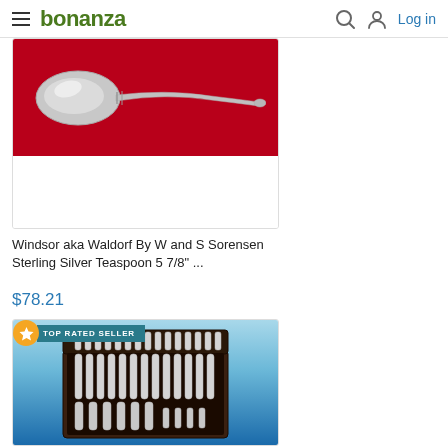bonanza | Log in
[Figure (photo): Photo of a sterling silver teaspoon on a red background]
Windsor aka Waldorf By W and S Sorensen Sterling Silver Teaspoon 5 7/8" ...
$78.21
[Figure (photo): Photo of a flatware set in a wooden presentation box with TOP RATED SELLER badge]